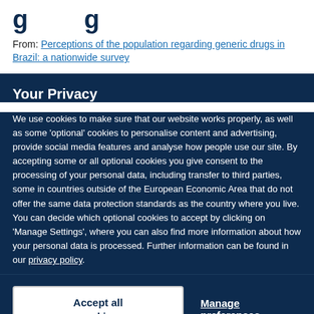g          g
From: Perceptions of the population regarding generic drugs in Brazil: a nationwide survey
Your Privacy
We use cookies to make sure that our website works properly, as well as some ‘optional’ cookies to personalise content and advertising, provide social media features and analyse how people use our site. By accepting some or all optional cookies you give consent to the processing of your personal data, including transfer to third parties, some in countries outside of the European Economic Area that do not offer the same data protection standards as the country where you live. You can decide which optional cookies to accept by clicking on ‘Manage Settings’, where you can also find more information about how your personal data is processed. Further information can be found in our privacy policy.
Accept all cookies
Manage preferences